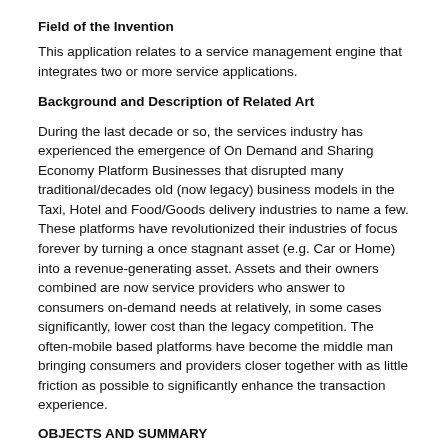Field of the Invention
This application relates to a service management engine that integrates two or more service applications.
Background and Description of Related Art
During the last decade or so, the services industry has experienced the emergence of On Demand and Sharing Economy Platform Businesses that disrupted many traditional/decades old (now legacy) business models in the Taxi, Hotel and Food/Goods delivery industries to name a few. These platforms have revolutionized their industries of focus forever by turning a once stagnant asset (e.g. Car or Home) into a revenue-generating asset. Assets and their owners combined are now service providers who answer to consumers on-demand needs at relatively, in some cases significantly, lower cost than the legacy competition. The often-mobile based platforms have become the middle man bringing consumers and providers closer together with as little friction as possible to significantly enhance the transaction experience.
OBJECTS AND SUMMARY